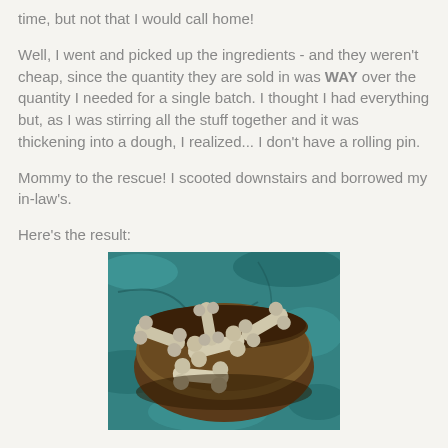time, but not that I would call home!
Well, I went and picked up the ingredients - and they weren't cheap, since the quantity they are sold in was WAY over the quantity I needed for a single batch. I thought I had everything but, as I was stirring all the stuff together and it was thickening into a dough, I realized... I don't have a rolling pin.
Mommy to the rescue! I scooted downstairs and borrowed my in-law's.
Here's the result:
[Figure (photo): A bowl filled with homemade dog bone biscuits on a teal/blue marbled surface]